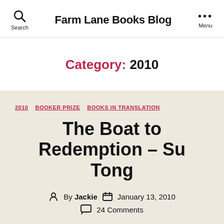Farm Lane Books Blog
Category: 2010
2010  BOOKER PRIZE  BOOKS IN TRANSLATION
The Boat to Redemption – Su Tong
By Jackie  January 13, 2010  24 Comments